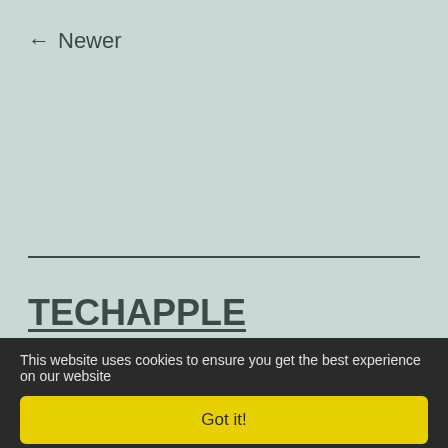← Newer
TECHAPPLE
Proudly powered by WordPress.
This website uses cookies to ensure you get the best experience on our website
Got it!